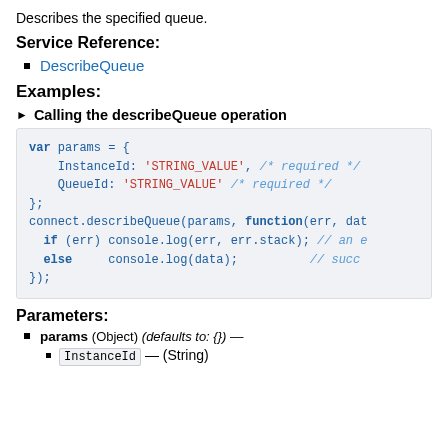Describes the specified queue.
Service Reference:
DescribeQueue
Examples:
▶ Calling the describeQueue operation
[Figure (screenshot): Code block showing JavaScript example calling describeQueue with params object containing InstanceId and QueueId string values, then calling connect.describeQueue(params, function(err, data) with if/else handling]
Parameters:
params (Object) (defaults to: {}) —
InstanceId — (String)